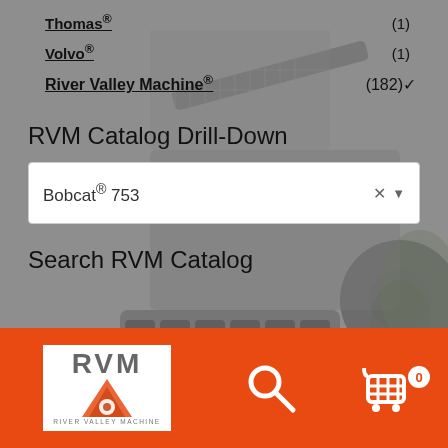Thomas® (1)
Volvo® (1)
River Valley Machine® (182) ✓
RVM Catalog Drill-Down
Bobcat® 753
Search RVM Catalog
[Figure (logo): RVM - River Valley Machine logo with orange/red arrow icon, white background with orange border]